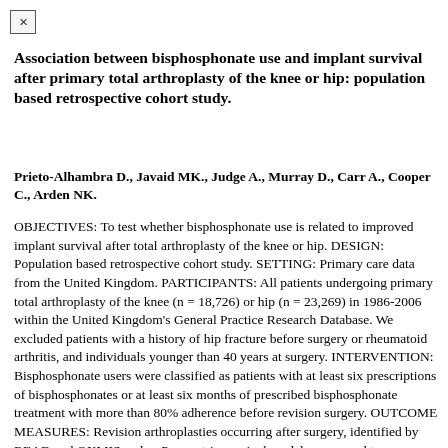Association between bisphosphonate use and implant survival after primary total arthroplasty of the knee or hip: population based retrospective cohort study.
Prieto-Alhambra D., Javaid MK., Judge A., Murray D., Carr A., Cooper C., Arden NK.
OBJECTIVES: To test whether bisphosphonate use is related to improved implant survival after total arthroplasty of the knee or hip. DESIGN: Population based retrospective cohort study. SETTING: Primary care data from the United Kingdom. PARTICIPANTS: All patients undergoing primary total arthroplasty of the knee (n = 18,726) or hip (n = 23,269) in 1986-2006 within the United Kingdom's General Practice Research Database. We excluded patients with a history of hip fracture before surgery or rheumatoid arthritis, and individuals younger than 40 years at surgery. INTERVENTION: Bisphosphonate users were classified as patients with at least six prescriptions of bisphosphonates or at least six months of prescribed bisphosphonate treatment with more than 80% adherence before revision surgery. OUTCOME MEASURES: Revision arthroplasties occurring after surgery, identified by READ and OXMIS codes. Parametric survival models were used to determine